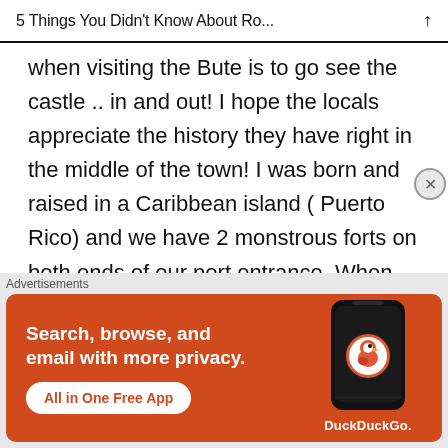5 Things You Didn't Know About Ro...
when visiting the Bute is to go see the castle .. in and out! I hope the locals appreciate the history they have right in the middle of the town! I was born and raised in a Caribbean island ( Puerto Rico) and we have 2 monstrous forts on both ends of our port entrance. When living there we tend to neglect our wonderful historical things around us.... now that I'm away from home I appreciate hearing
Advertisements
[Figure (infographic): DuckDuckGo advertisement banner with orange background. Text reads: Search, browse, and email with more privacy. All in One Free App. Shows a phone with the DuckDuckGo logo.]